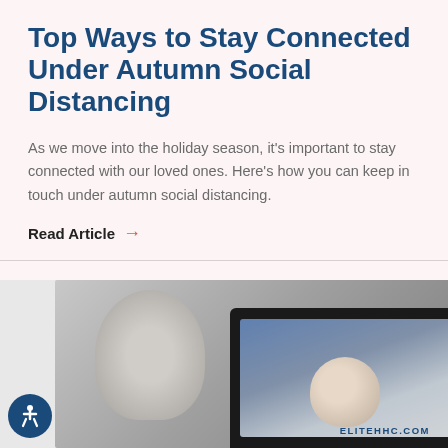Top Ways to Stay Connected Under Autumn Social Distancing
As we move into the holiday season, it's important to stay connected with our loved ones. Here's how you can keep in touch under autumn social distancing.
Read Article →
[Figure (photo): An elderly person viewed from behind looking at a laptop or tablet screen showing a video call with another person. An accessibility icon badge is shown in the bottom left. The ELITEHHC.COM watermark is visible on the right.]